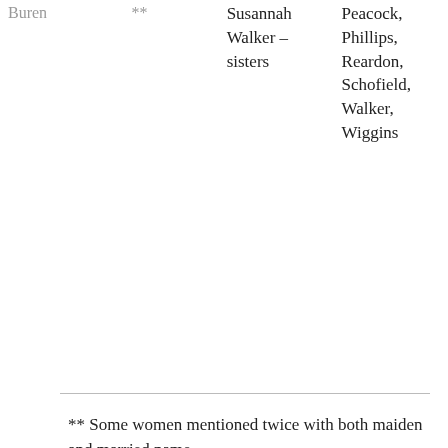| Buren | ** | Susannah Walker – sisters | Peacock, Phillips, Reardon, Schofield, Walker, Wiggins |
** Some women mentioned twice with both maiden and married name.
## Also includes memorials
Many of the cemeteries also had plots with unknown names and dates due to deterioration of headstones.
Readers: Do you know of a relative buried